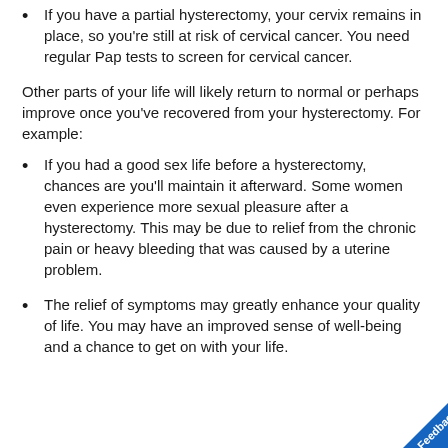If you have a partial hysterectomy, your cervix remains in place, so you're still at risk of cervical cancer. You need regular Pap tests to screen for cervical cancer.
Other parts of your life will likely return to normal or perhaps improve once you've recovered from your hysterectomy. For example:
If you had a good sex life before a hysterectomy, chances are you'll maintain it afterward. Some women even experience more sexual pleasure after a hysterectomy. This may be due to relief from the chronic pain or heavy bleeding that was caused by a uterine problem.
The relief of symptoms may greatly enhance your quality of life. You may have an improved sense of well-being and a chance to get on with your life.